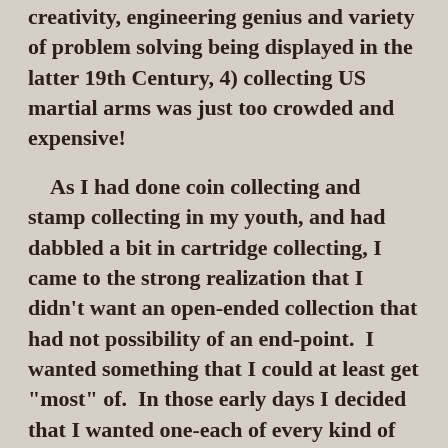creativity, engineering genius and variety of problem solving being displayed in the latter 19th Century, 4) collecting US martial arms was just too crowded and expensive!
As I had done coin collecting and stamp collecting in my youth, and had dabbled a bit in cartridge collecting, I came to the strong realization that I didn't want an open-ended collection that had not possibility of an end-point.  I wanted something that I could at least get "most" of.  In those early days I decided that I wanted one-each of every kind of military action from the black powder cartridge days.  I literally sat down